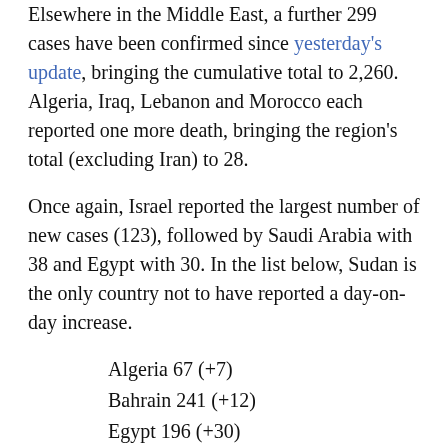Elsewhere in the Middle East, a further 299 cases have been confirmed since yesterday's update, bringing the cumulative total to 2,260. Algeria, Iraq, Lebanon and Morocco each reported one more death, bringing the region's total (excluding Iran) to 28.
Once again, Israel reported the largest number of new cases (123), followed by Saudi Arabia with 38 and Egypt with 30. In the list below, Sudan is the only country not to have reported a day-on-day increase.
Algeria 67 (+7)
Bahrain 241 (+12)
Egypt 196 (+30)
Iraq 154 (+21)
Israel 427 (+123)
Jordan 40 (+6)
Kuwait 142 (+12)
Lebanon 120 (+10)